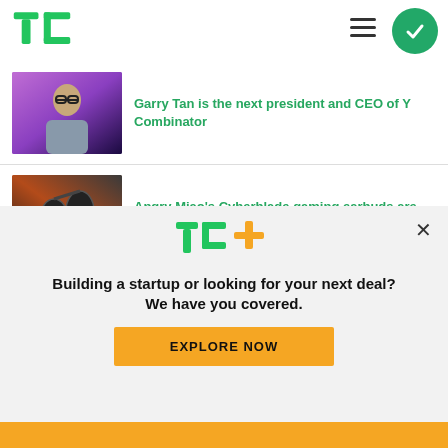[Figure (logo): TechCrunch TC green logo]
[Figure (illustration): Hamburger menu icon and green check circle button]
[Figure (photo): Garry Tan speaking on a purple-lit stage]
Garry Tan is the next president and CEO of Y Combinator
[Figure (photo): Angry Miao Cyberblade gaming earbuds on a dark mat with orange background]
Angry Miao's Cyberblade gaming earbuds are the pinnacle of overengineering
[Figure (photo): Lunchbox colorful product packaging on teal background]
Pitch Deck Teardown: Lunchbox's $50 million Series B
[Figure (logo): TC+ logo in green and orange]
Building a startup or looking for your next deal? We have you covered.
EXPLORE NOW